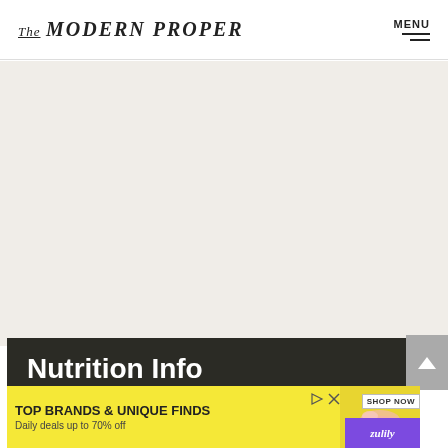The MODERN PROPER | MENU
[Figure (other): Large light beige/cream background content area placeholder]
Nutrition Info
Per Serving   Amount
[Figure (other): Advertisement banner: TOP BRANDS & UNIQUE FINDS - Daily deals up to 70% off - Shop Now - Zulily]